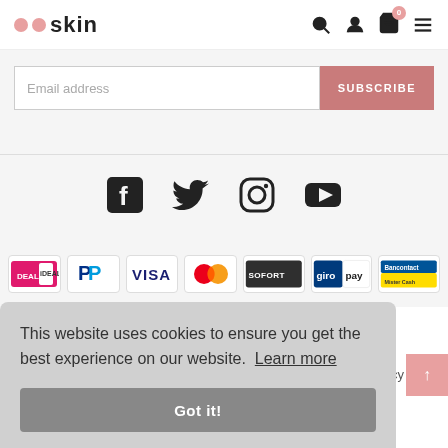skin (logo with two pink dots) — navigation icons: search, account, cart (0), menu
Email address
SUBSCRIBE
[Figure (illustration): Social media icons: Facebook, Twitter, Instagram, YouTube/Play]
[Figure (illustration): Payment method icons: DEAL, PayPal, VISA, Mastercard, SOFORT, giropay, Bancontact Mister Cash]
This website uses cookies to ensure you get the best experience on our website. Learn more
Got it!
olicy